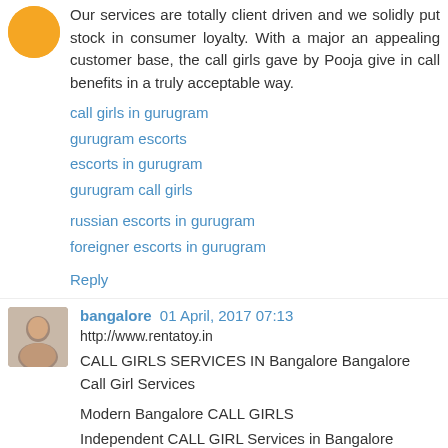Our services are totally client driven and we solidly put stock in consumer loyalty. With a major an appealing customer base, the call girls gave by Pooja give in call benefits in a truly acceptable way.
call girls in gurugram
gurugram escorts
escorts in gurugram
gurugram call girls
russian escorts in gurugram
foreigner escorts in gurugram
Reply
bangalore  01 April, 2017 07:13
http://www.rentatoy.in
CALL GIRLS SERVICES IN Bangalore Bangalore Call Girl Services
Modern Bangalore CALL GIRLS
Independent CALL GIRL Services in Bangalore